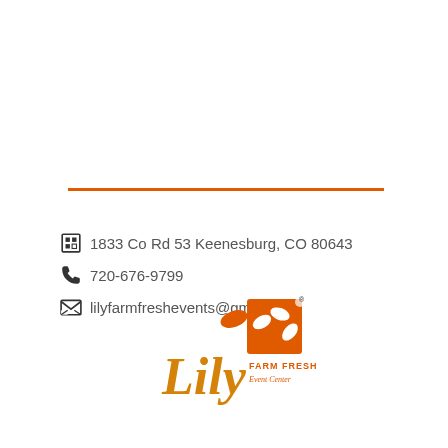[Figure (illustration): Orange horizontal decorative line separator]
🏢 1833 Co Rd 53 Keenesburg, CO 80643
📞 720-676-9799
📧 lilyfarmfreshevents@gmail.com
[Figure (logo): Lily Farm Fresh Event Center logo with orange floral design and cursive Lily text]